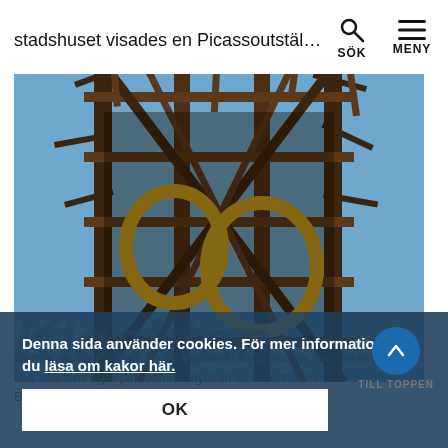stadshuset visades en Picassoutställnin
[Figure (photo): Close-up photo of an ornate metal clock tower structure with golden ring decorations against a blue sky.]
Denna sida använder cookies. För mer information kan du läsa om kakor här.
OK
Klockstapeln
Gamla stan... kvalitet. Klockstapeln är designad av Hemelind och är ska. stadens eget järn och utsmyckad av konstnären. Bore Mo Hund 2017...